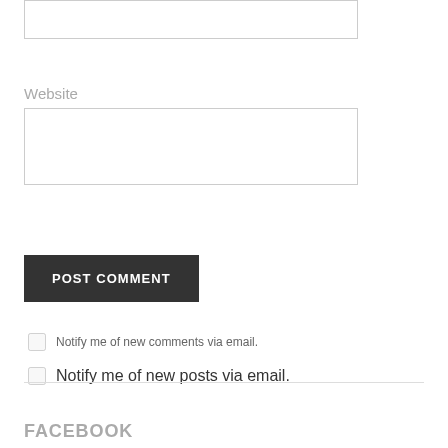Website
POST COMMENT
Notify me of new comments via email.
Notify me of new posts via email.
FACEBOOK